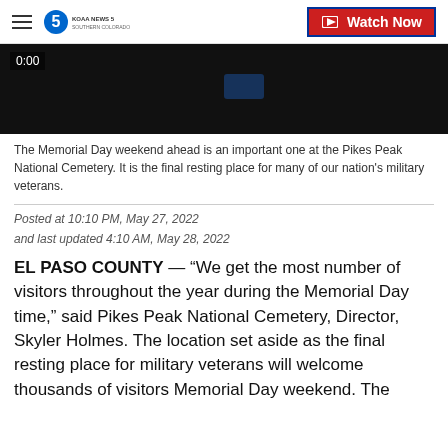KOAA News 5 Southern Colorado — Watch Now
[Figure (screenshot): Dark video thumbnail with 0:00 timer in top-left corner]
The Memorial Day weekend ahead is an important one at the Pikes Peak National Cemetery. It is the final resting place for many of our nation's military veterans.
Posted at 10:10 PM, May 27, 2022 and last updated 4:10 AM, May 28, 2022
EL PASO COUNTY — “We get the most number of visitors throughout the year during the Memorial Day time,” said Pikes Peak National Cemetery, Director, Skyler Holmes. The location set aside as the final resting place for military veterans will welcome thousands of visitors Memorial Day weekend. The